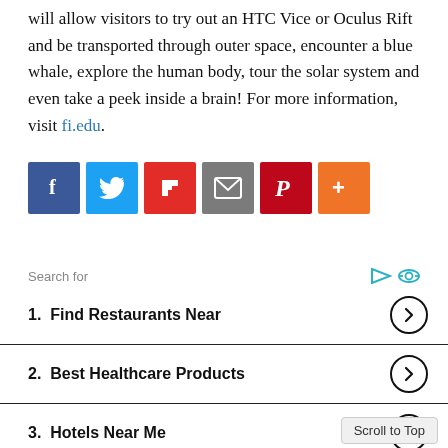will allow visitors to try out an HTC Vice or Oculus Rift and be transported through outer space, encounter a blue whale, explore the human body, tour the solar system and even take a peek inside a brain! For more information, visit fi.edu.
[Figure (infographic): Social sharing buttons: Facebook (blue), Twitter (light blue), Flipboard (red), Email (gray), Pinterest (dark red), More/Plus (orange)]
Search for
1. Find Restaurants Near
2. Best Healthcare Products
3. Hotels Near Me
4. Travel Insurance Online